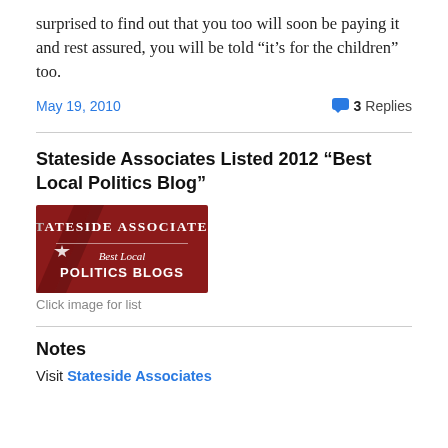surprised to find out that you too will soon be paying it and rest assured, you will be told “it’s for the children” too.
May 19, 2010      3 Replies
Stateside Associates Listed 2012 “Best Local Politics Blog”
[Figure (logo): Stateside Associates Best Local Politics Blogs badge/logo — dark red background with white text reading STATESIDE ASSOCIATES Best Local POLITICS BLOGS and a star graphic]
Click image for list
Notes
Visit Stateside Associates